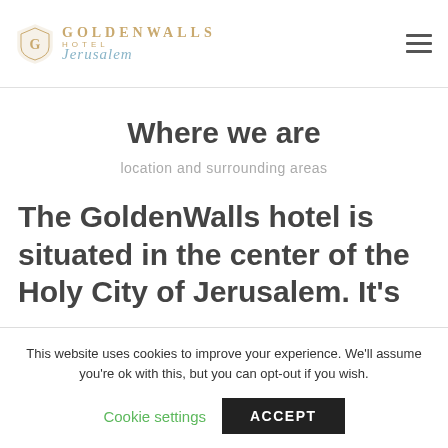GoldenWalls Hotel Jerusalem
Where we are
location and surrounding areas
The GoldenWalls hotel is situated in the center of the Holy City of Jerusalem. It's
This website uses cookies to improve your experience. We'll assume you're ok with this, but you can opt-out if you wish. Cookie settings ACCEPT